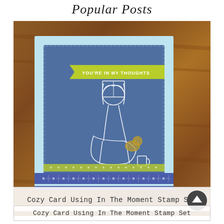Popular Posts
[Figure (photo): A handmade greeting card with a blue scalloped panel showing a white-stamped image of a person reading with a dog, a yellow-green ribbon banner reading YOU'RE IN MY THOUGHTS, washi tape strips in green and blue polka dot patterns, displayed on a wooden table surface.]
Cozy Card Using In The Moment Stamp Set